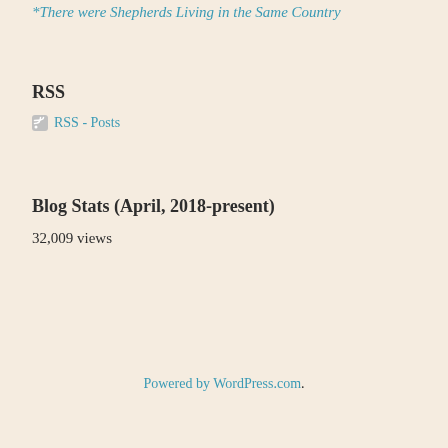*There were Shepherds Living in the Same Country
RSS
RSS - Posts
Blog Stats (April, 2018-present)
32,009 views
Powered by WordPress.com.